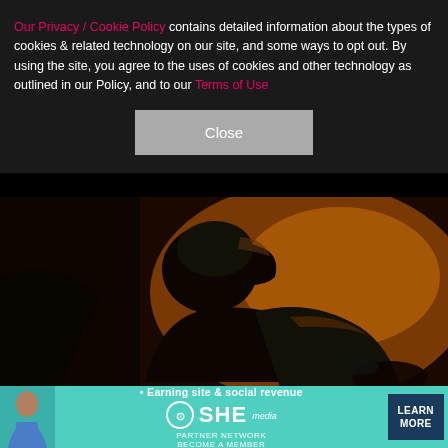Our Privacy / Cookie Policy contains detailed information about the types of cookies & related technology on our site, and some ways to opt out. By using the site, you agree to the uses of cookies and other technology as outlined in our Policy, and to our Terms of Use
Close
[Figure (photo): Dark silhouette of a person wearing a helmet against a warm amber/orange background, dramatic low-light concert or event photo.]
8/16    EDUARDO VERDUGO/AP/SHUTTERSTOCK
Nine Inch Nails announced in May that it was only playing two shows in 2021, set for Sept. 21 and 22. O
[Figure (infographic): Advertisement banner for SHE Media Partner Network. Features a woman, tagline 'Earning site & social revenue', SHE logo circle, 'PARTNER NETWORK BECOME A MEMBER' text, and a 'LEARN MORE' button in dark blue.]